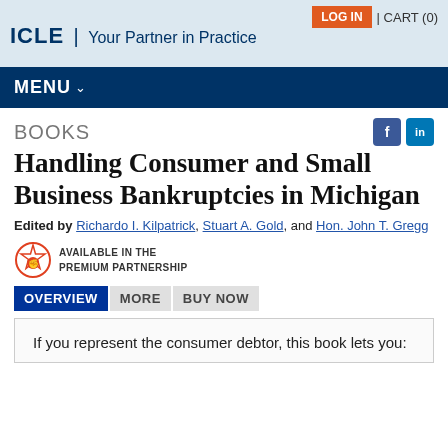LOG IN | CART (0)
ICLE | Your Partner in Practice
MENU
BOOKS
Handling Consumer and Small Business Bankruptcies in Michigan
Edited by Richardo I. Kilpatrick, Stuart A. Gold, and Hon. John T. Gregg
AVAILABLE IN THE PREMIUM PARTNERSHIP
OVERVIEW  MORE  BUY NOW
If you represent the consumer debtor, this book lets you: